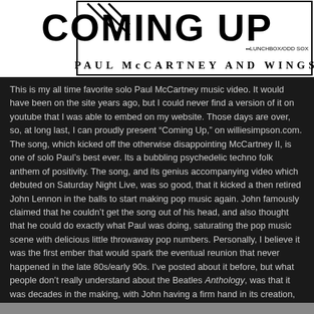[Figure (other): Album/single cover image for 'Coming Up' by Paul McCartney and Wings, showing stylized text with diagonal line decorations and subtitle text 'LUNCHBOX/ODD SOX'. Below reads 'PAUL McCARTNEY AND WINGS'.]
This is my all time favorite solo Paul McCartney music video.  It would have been on the site years ago, but I could never find a version of it on youtube that I was able to embed on my website.  Those days are over, so, at long last, I can proudly present "Coming Up," on williesimpson.com.  The song, which kicked off the otherwise disappointing McCartney II, is one of solo Paul’s best ever.  Its a bubbling psychedelic techno folk anthem of positivity.  The song, and its genius accompanying video which debuted on Saturday Night Live, was so good, that it kicked a then retired John Lennon in the balls to start making pop music again.  John famously claimed that he couldn’t get the song out of his head, and also thought that he could do exactly what Paul was doing, saturating the pop music scene with delicious little throwaway pop numbers.  Personally, I believe it was the first ember that would spark the eventual reunion that never happened in the late 80s/early 90s.  I’ve posted about it before, but what people don’t really understand about the Beatles Anthology, was that it was decades in the making, with John having a firm hand in its creation, all with the idea that some sort of reunion would happen one day on an important anniversary.  Despite John’s needing to distance himself from the whole Beatle circus, he knew deep down that it was a special achievement in his life, and that one day, he’d have to take the effort to put the Beatle thing its place and history, from his, and the other Beatles’ perspectives.  Anyway, that is stuff that has little to do with “Coming Up,” and its hilarious music video that you should watch right now.  “Feel it in my bones!”